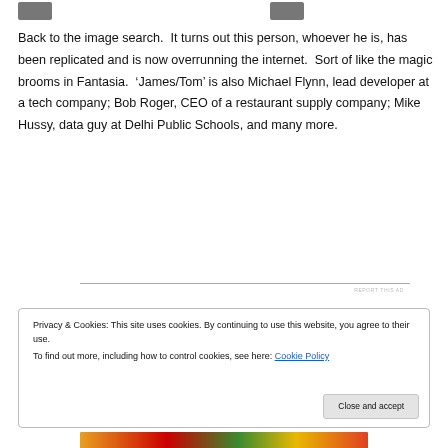[Figure (photo): Two small portrait/avatar photos at top of page — one on the left and one slightly right of center]
Back to the image search.  It turns out this person, whoever he is, has been replicated and is now overrunning the internet.  Sort of like the magic brooms in Fantasia.  ‘James/Tom’ is also Michael Flynn, lead developer at a tech company; Bob Roger, CEO of a restaurant supply company; Mike Hussy, data guy at Delhi Public Schools, and many more.
REPORT THIS AD
Privacy & Cookies: This site uses cookies. By continuing to use this website, you agree to their use.
To find out more, including how to control cookies, see here: Cookie Policy
Close and accept
[Figure (photo): Partial colorful images visible at the very bottom of the page]